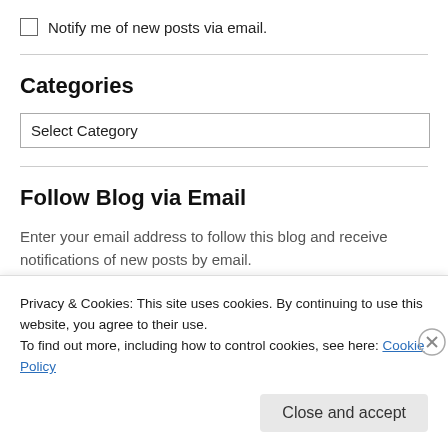Notify me of new posts via email.
Categories
Select Category
Follow Blog via Email
Enter your email address to follow this blog and receive notifications of new posts by email.
Privacy & Cookies: This site uses cookies. By continuing to use this website, you agree to their use.
To find out more, including how to control cookies, see here: Cookie Policy
Close and accept